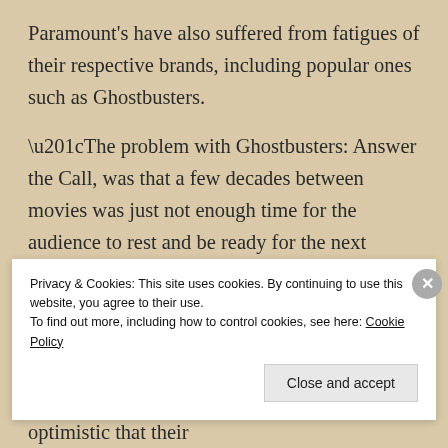Paramount's have also suffered from fatigues of their respective brands, including popular ones such as Ghostbusters.
“The problem with Ghostbusters: Answer the Call, was that a few decades between movies was just not enough time for the audience to rest and be ready for the next one,” said Paul Feig, director of Ghostbusters. “People do not have time in their busy schedules to watch three movies in thirty years.” Despite suffering from fatigue of most of their franchises, Sony is optimistic that their
Privacy & Cookies: This site uses cookies. By continuing to use this website, you agree to their use.
To find out more, including how to control cookies, see here: Cookie Policy